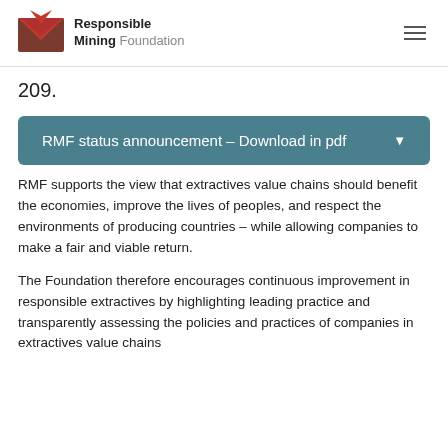Responsible Mining Foundation
209.
[Figure (other): Download button: RMF status announcement – Download in pdf]
RMF supports the view that extractives value chains should benefit the economies, improve the lives of peoples, and respect the environments of producing countries – while allowing companies to make a fair and viable return.
The Foundation therefore encourages continuous improvement in responsible extractives by highlighting leading practice and transparently assessing the policies and practices of companies in extractives value chains